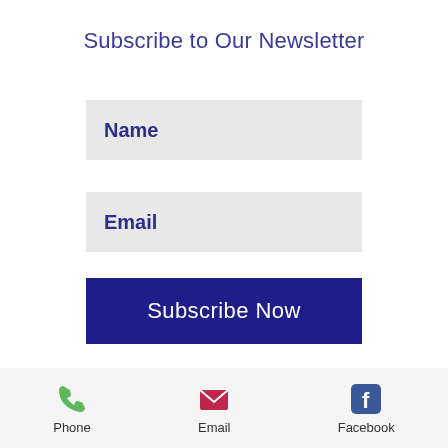Subscribe to Our Newsletter
Name
Email
Subscribe Now
Phone | Email | Facebook